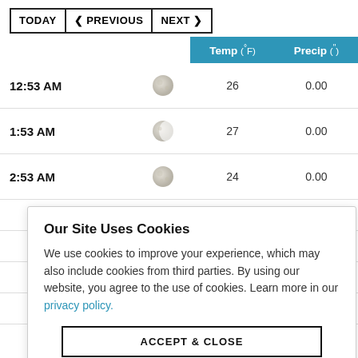TODAY | < PREVIOUS | NEXT >
|  |  | Temp (°F) | Precip (") |
| --- | --- | --- | --- |
| 12:53 AM | [moon icon] | 26 | 0.00 |
| 1:53 AM | [moon icon] | 27 | 0.00 |
| 2:53 AM | [moon icon] | 24 | 0.00 |
|  |  |  | 0.00 |
|  |  |  | 0.00 |
|  |  |  | 0.00 |
|  |  |  | 0.00 |
Our Site Uses Cookies
We use cookies to improve your experience, which may also include cookies from third parties. By using our website, you agree to the use of cookies. Learn more in our privacy policy.
ACCEPT & CLOSE